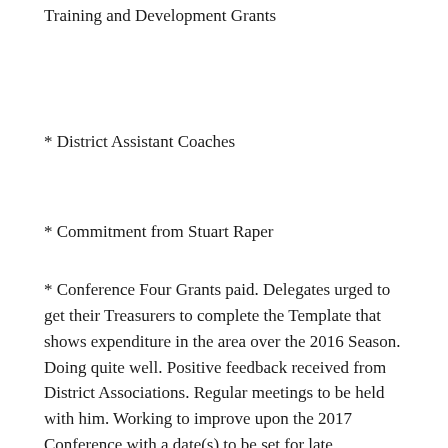Training and Development Grants
* District Assistant Coaches
* Commitment from Stuart Raper
* Conference Four Grants paid. Delegates urged to get their Treasurers to complete the Template that shows expenditure in the area over the 2016 Season. Doing quite well. Positive feedback received from District Associations. Regular meetings to be held with him. Working to improve upon the 2017 Conference with a date(s) to be set for late November or early in 2018.